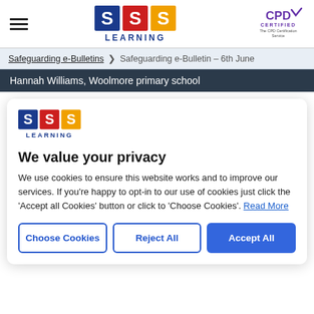SSS Learning — hamburger menu, SSS Learning logo, CPD Certified logo
Safeguarding e-Bulletins > Safeguarding e-Bulletin – 6th June
Hannah Williams, Woolmore primary school
[Figure (logo): SSS Learning logo — three coloured squares (blue, red, orange) each containing a white S, with LEARNING text below]
We value your privacy
We use cookies to ensure this website works and to improve our services. If you're happy to opt-in to our use of cookies just click the 'Accept all Cookies' button or click to 'Choose Cookies'. Read More